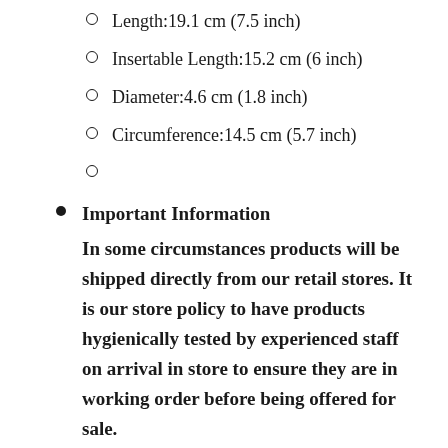Length:19.1 cm (7.5 inch)
Insertable Length:15.2 cm (6 inch)
Diameter:4.6 cm (1.8 inch)
Circumference:14.5 cm (5.7 inch)
Important Information
In some circumstances products will be shipped directly from our retail stores. It is our store policy to have products hygienically tested by experienced staff on arrival in store to ensure they are in working order before being offered for sale.